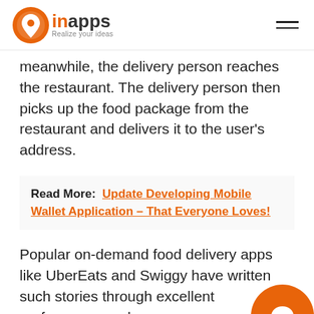inapps — Realize your ideas
meanwhile, the delivery person reaches the restaurant. The delivery person then picks up the food package from the restaurant and delivers it to the user's address.
Read More: Update Developing Mobile Wallet Application – That Everyone Loves!
Popular on-demand food delivery apps like UberEats and Swiggy have written such stories through excellent performance and